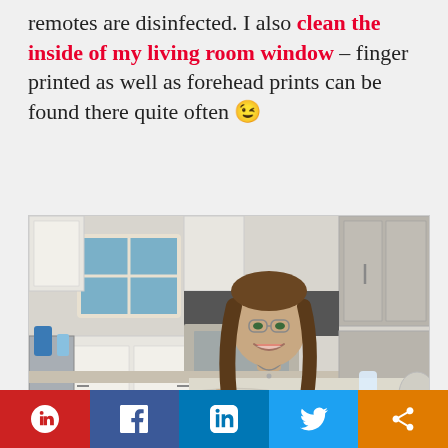remotes are disinfected. I also clean the inside of my living room window – finger printed as well as forehead prints can be found there quite often 😉
[Figure (photo): Young woman with long brown hair smiling in a modern kitchen, wearing a black sleeveless top, holding a spray bottle at a marble island countertop. Kitchen has white and grey cabinets, stainless steel farmhouse sink, and dishwasher visible in background.]
Advertisements
Pinterest | Facebook | LinkedIn | Twitter | Share